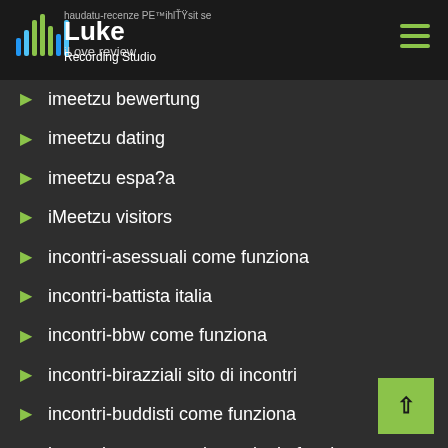Luke Recording Studio | iLove review
imeetzu bewertung
imeetzu dating
imeetzu espa?a
iMeetzu visitors
incontri-asessuali come funziona
incontri-battista italia
incontri-bbw come funziona
incontri-birazziali sito di incontri
incontri-buddisti come funziona
incontri-con-un-genitore-single funziona
incontri-country italia